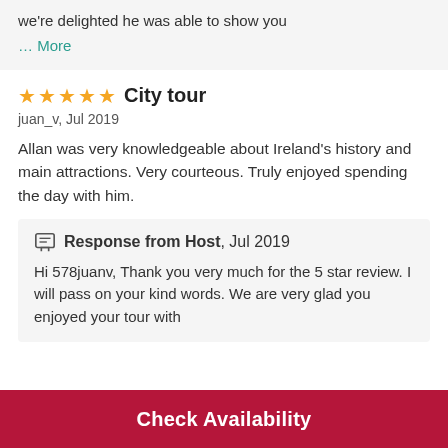we're delighted he was able to show you
… More
City tour
juan_v, Jul 2019
Allan was very knowledgeable about Ireland's history and main attractions. Very courteous. Truly enjoyed spending the day with him.
Response from Host, Jul 2019
Hi 578juanv, Thank you very much for the 5 star review. I will pass on your kind words. We are very glad you enjoyed your tour with